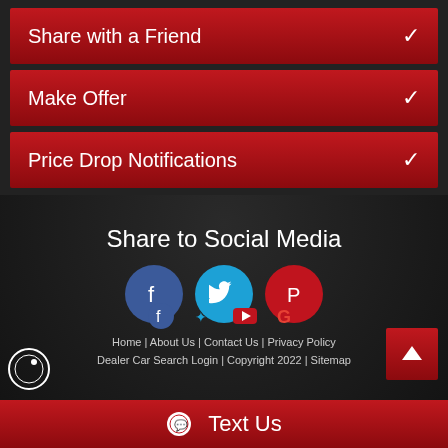Share with a Friend
Make Offer
Price Drop Notifications
Share to Social Media
[Figure (illustration): Three social media icon circles: Facebook (blue), Twitter (light blue), Pinterest (red)]
[Figure (illustration): Footer social media icons: Facebook, Twitter, YouTube, Google]
Home | About Us | Contact Us | Privacy Policy
Dealer Car Search Login | Copyright 2022 | Sitemap
Text Us